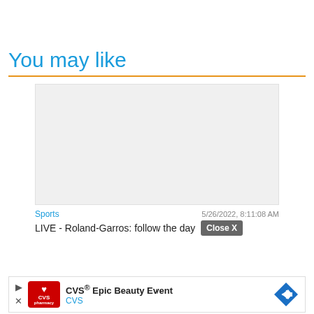You may like
[Figure (other): Gray placeholder image for a news article card]
Sports    5/26/2022, 8:11:08 AM
LIVE - Roland-Garros: follow the day  Close X
[Figure (other): CVS advertisement banner - CVS Epic Beauty Event with CVS logo and navigation arrow icon]